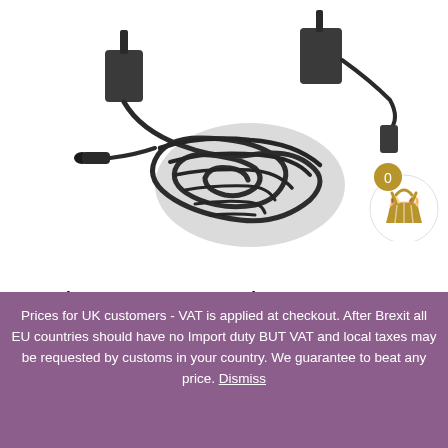[Figure (photo): Product photo of a replacement bench power supply — two black AC adapter units with cables coiled and a DC barrel connector visible, on a white background.]
Replacement Bench Power Supply
$30.00 Excluding tax
Prices for UK customers - VAT is applied at checkout. After Brexit all EU countries should have no Import duty BUT VAT and local taxes may be requested by customs in your country. We guarantee to beat any price. Dismiss